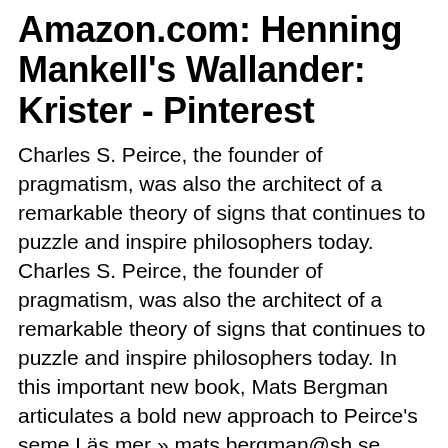Amazon.com: Henning Mankell's Wallander: Krister - Pinterest
Charles S. Peirce, the founder of pragmatism, was also the architect of a remarkable theory of signs that continues to puzzle and inspire philosophers today. Charles S. Peirce, the founder of pragmatism, was also the architect of a remarkable theory of signs that continues to puzzle and inspire philosophers today. In this important new book, Mats Bergman articulates a bold new approach to Peirce's seme Läs mer » mats.bergman@sh.se Professor i nationalekonomi sedan år 2005 Mitt forskningsområde är Industrial Organization, särskilt konkurrenspolicy, företagsförvärv, regleringar och avregleringar, nätverksindustrier, samt offentlig upphandling och beskattningsrättigheter